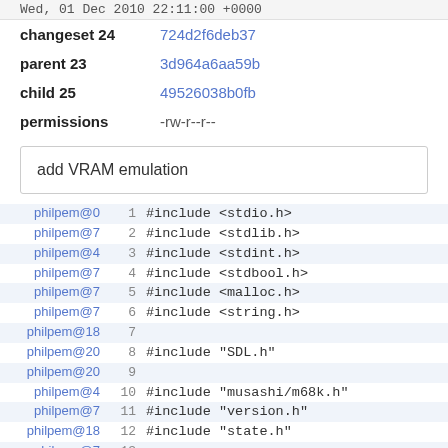Wed, 01 Dec 2010 22:11:00 +0000
changeset 24   724d2f6deb37
parent 23   3d964a6aa59b
child 25   49526038b0fb
permissions   -rw-r--r--
add VRAM emulation
philpem@0  1  #include <stdio.h>
philpem@7  2  #include <stdlib.h>
philpem@4  3  #include <stdint.h>
philpem@7  4  #include <stdbool.h>
philpem@7  5  #include <malloc.h>
philpem@7  6  #include <string.h>
philpem@18  7  
philpem@20  8  #include "SDL.h"
philpem@20  9  
philpem@4  10  #include "musashi/m68k.h"
philpem@7  11  #include "version.h"
philpem@18  12  #include "state.h"
philpem@7  13  
philpem@7  14  void FAIL(char *err)
philpem@7  15  {